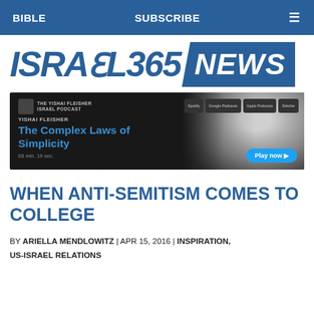BIBLE | SUBSCRIBE | ☰
[Figure (logo): Israel365 News logo — bold italic blue text 'ISRAEL365' on white background and 'NEWS' on blue background]
[Figure (screenshot): Podcast banner for The Yishai Fleisher Israel Podcast — episode 'The Complex Laws of Simplicity' by Yishai Fleisher, 68 min. 19 sec., dark background with photo of smiling man, streaming badges for Spotify, Google Podcasts, Apple Podcasts, Stitcher, and a Play now button]
WHEN ANTI-SEMITISM COMES TO COLLEGE
BY ARIELLA MENDLOWITZ | APR 15, 2016 | INSPIRATION, US-ISRAEL RELATIONS